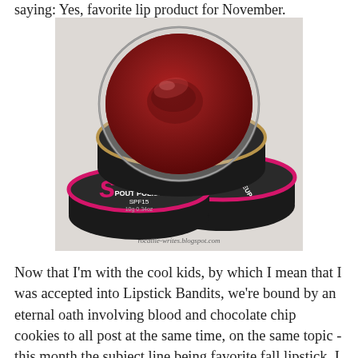saying: Yes, favorite lip product for November.
[Figure (photo): A jar of Lush Makeup Pout Polish SPF 15 (10g/0.34oz) lip product, opened to reveal deep red/burgundy lip balm inside, photographed with two additional closed black and pink round tins stacked beneath. The product label reads 'MAKEUP POUT POLISH SPF15 10g 0.34oz'. Watermark reads 'rocaille-writes.blogspot.com'.]
Now that I'm with the cool kids, by which I mean that I was accepted into Lipstick Bandits, we're bound by an eternal oath involving blood and chocolate chip cookies to all post at the same time, on the same topic - this month the subject line being favorite fall lipstick. I feel like I shot myself in the foot twice; firstly I posted an overview of my fall favorites last